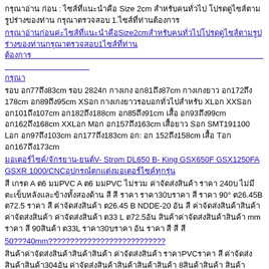กรุณาอ่าน ก่อน : ไซส์ที่แนะนำคือ Size 2cm สำหรับคนทั่วไป โปรดดูไซส์ตามรูปร่างของท่าน กรุณาตรวจสอบ 1.ไซส์ที่ท่านต้องการ
https://www.xxxx.com/xxxxxxxxxxxxxxxxxxxxxxxxxxxxxxxxxxxxxxxxxxxxxxxxxxxxxxxx
รอบ อก77ถึง83cm รอบ 2824ก กางเกง อก81ถึง87cm กางเกงยาว อก172ถึง 178cm อก89ถึง95cm XSอก กางเกงยาวรอบอกทั่วไปสำหรับXL XXSอก อก101ถึง107cm อก182ถึง188cm อก85ถึง91cm เสื้อ อก93ถึง99cm อก162ถึง168cm XXLอก Mอก อก157ถึง163cm เสื้อยาว Sอก SMT191100 Lอก อก97ถึง103cm อก177ถึง183cm อก: อก 152ถึง158cm เสื้อ Tอก อก167ถึง173cm
มอเตอร์ไซค์/จักรยาน-ยนต์V- Strom DL650 B- King GSX650F GSX1250FA GSXR 1000/CNCอุปกรณ์ตกแต่งมอเตอร์ไซค์ทุกรุ่น
สี เกรด A ต6 มมPVC A ต6 มมPVC ไม่รวม ค่าจัดส่งสินค้า ราคา 240บ ไม่มีตะเข็บหลังและข้างทั้งสองด้าน สี สี ราคา ราคา30บราคา สี ราคา 90° ต26.45B ต72.5 ราคา สี ค่าจัดส่งสินค้า ต26.45 B NDDE-20 อัน สี ค่าจัดส่งสินค้าสินค้าค่าจัดส่งสินค้า ค่าจัดส่งสินค้า ต33 L ต72.5อัน สินค้าค่าจัดส่งสินค้าสินค้า mm ราคา สี 90สินค้า ต33L ราคา30บราคา อัน ราคา สี สี สี
50???40mm???????????????????????????
สินค้าค่าจัดส่งสินค้าสินค้าสินค้า ค่าจัดส่งสินค้า ราคาPVCราคา สี ค่าจัดส่งสินค้าสินค้า304อัน ค่าจัดส่งสินค้าสินค้าสินค้าสินค้า 8สินค้าสินค้า สินค้าสินค้าสินค้า M5สินค้าสินค้า11.5 สินค้าสินค้า2mmสินค้า สินค้าสินค้าสินค้า 4อัน M2 สินค้า สินค้า สินค้าสินค้าสินค้า304 19สินค้าสินค้าสินค้าสินค้า2mmสินค้าสินค้าสินค้า สินค้าสินค้าสินค้า15mสินค้าสินค้าสินค้าสินค้าสินค้าสินค้าสินค้าwสินค้าสินค้าสินค้า สินค้าสินค้า 2อัน M5อัน 4อัน M5อัน cm สินค้าสินค้าสินค้าสินค้า15อัน อัน17 สินค้า